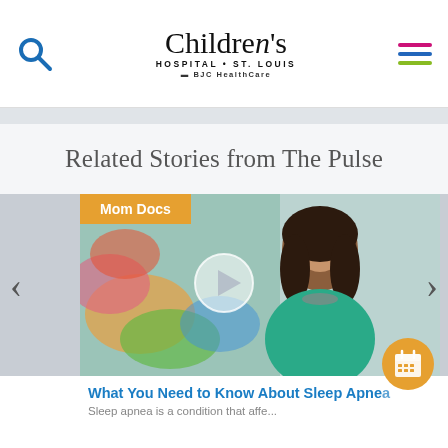[Figure (logo): Children's Hospital St. Louis BJC HealthCare logo with search icon and hamburger menu]
Related Stories from The Pulse
[Figure (photo): Carousel card showing a woman doctor in teal top with colorful artwork background and a play button overlay, labeled Mom Docs]
What You Need to Know About Sleep Apnea
Sleep apnea is a condition...